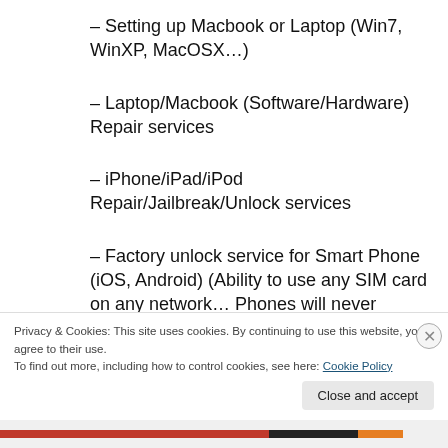– Setting up Macbook or Laptop (Win7, WinXP, MacOSX…)
– Laptop/Macbook (Software/Hardware) Repair services
– iPhone/iPad/iPod Repair/Jailbreak/Unlock services
– Factory unlock service for Smart Phone (iOS, Android) (Ability to use any SIM card on any network…  Phones will never relock… All
Privacy & Cookies: This site uses cookies. By continuing to use this website, you agree to their use.
To find out more, including how to control cookies, see here: Cookie Policy
Close and accept